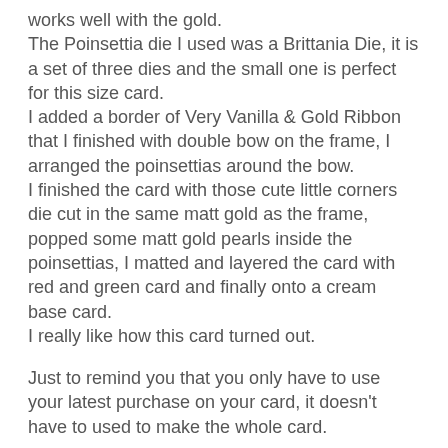works well with the gold. The Poinsettia die I used was a Brittania Die, it is a set of three dies and the small one is perfect for this size card. I added a border of Very Vanilla & Gold Ribbon that I finished with double bow on the frame, I arranged the poinsettias around the bow. I finished the card with those cute little corners die cut in the same matt gold as the frame, popped some matt gold pearls inside the poinsettias, I matted and layered the card with red and green card and finally onto a cream base card. I really like how this card turned out.
Just to remind you that you only have to use your latest purchase on your card, it doesn't have to used to make the whole card.
I am looking forward to seeing all of your challenge cards, showing what you have been buying.
I hope that you all have a lovely day,
Love and hugs to all of you,